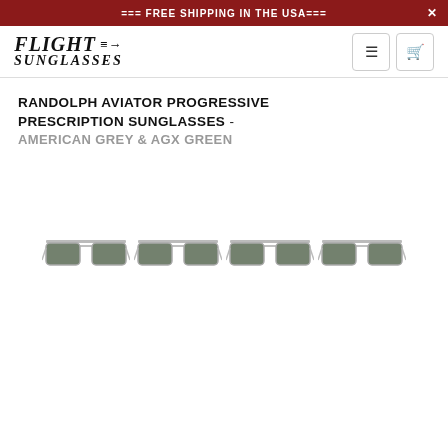=== FREE SHIPPING IN THE USA===
FLIGHT SUNGLASSES
RANDOLPH AVIATOR PROGRESSIVE PRESCRIPTION SUNGLASSES - AMERICAN GREY & AGX GREEN
[Figure (photo): Four thumbnail images of Randolph aviator sunglasses with silver frames and green lenses shown in a row at the bottom of the page.]